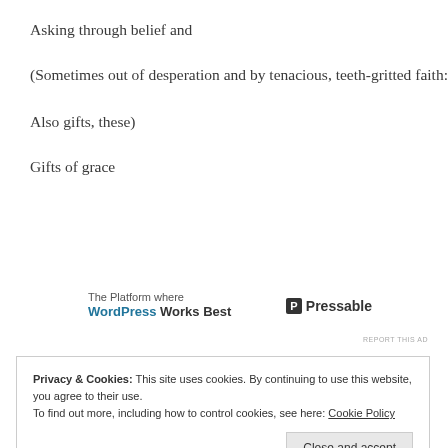Asking through belief and
(Sometimes out of desperation and by tenacious, teeth-gritted faith:
Also gifts, these)
Gifts of grace
[Figure (other): Advertisement banner: 'The Platform where WordPress Works Best' with Pressable logo]
REPORT THIS AD
Privacy & Cookies: This site uses cookies. By continuing to use this website, you agree to their use. To find out more, including how to control cookies, see here: Cookie Policy
Close and accept